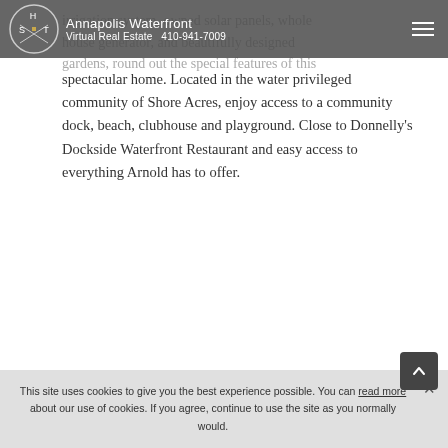Annapolis Waterfront Virtual Real Estate 410-941-7009
irrigation system, owned solar panels, whole house generator, and beautifully designed gardens, round out the special features of this spectacular home. Located in the water privileged community of Shore Acres, enjoy access to a community dock, beach, clubhouse and playground. Close to Donnelly’s Dockside Waterfront Restaurant and easy access to everything Arnold has to offer.
This site uses cookies to give you the best experience possible. You can read more about our use of cookies. If you agree, continue to use the site as you normally would.